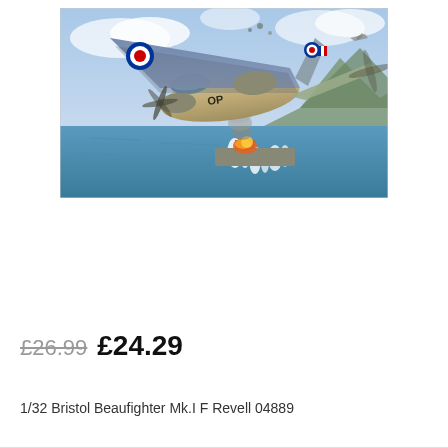[Figure (illustration): Painting/illustration of a Bristol Beaufighter WWII aircraft attacking a ship at sea, with mountains in the background, smoke and explosions visible. Aircraft markings include RAF roundel and code letters.]
£26.99  £24.29
1/32 Bristol Beaufighter Mk.I F Revell 04889